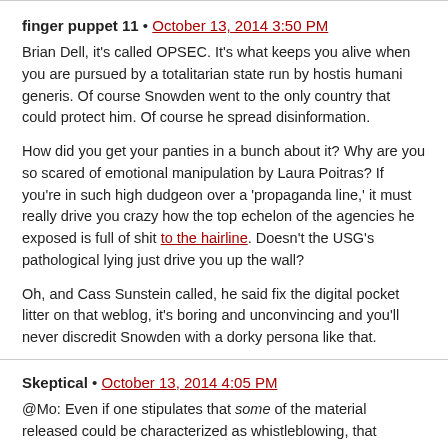finger puppet 11 • October 13, 2014 3:50 PM
Brian Dell, it's called OPSEC. It's what keeps you alive when you are pursued by a totalitarian state run by hostis humani generis. Of course Snowden went to the only country that could protect him. Of course he spread disinformation.

How did you get your panties in a bunch about it? Why are you so scared of emotional manipulation by Laura Poitras? If you're in such high dudgeon over a 'propaganda line,' it must really drive you crazy how the top echelon of the agencies he exposed is full of shit to the hairline. Doesn't the USG's pathological lying just drive you up the wall?

Oh, and Cass Sunstein called, he said fix the digital pocket litter on that weblog, it's boring and unconvincing and you'll never discredit Snowden with a dorky persona like that.
Skeptical • October 13, 2014 4:05 PM
@Mo: Even if one stipulates that some of the material released could be characterized as whistleblowing, that